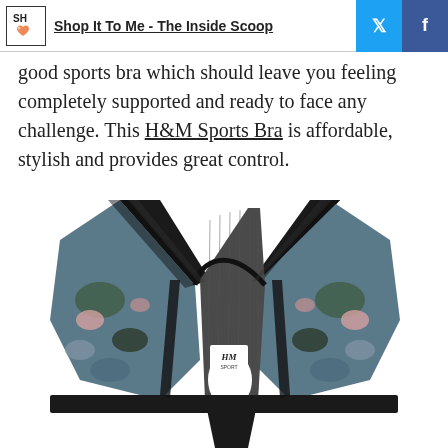Shop It To Me - The Inside Scoop
good sports bra which should leave you feeling completely supported and ready to face any challenge. This H&M Sports Bra is affordable, stylish and provides great control.
[Figure (photo): H&M Sport sports bra product photo showing the back of a racerback sports bra with black trim, mesh back panel, and floral/camo print fabric panels on the sides and front.]